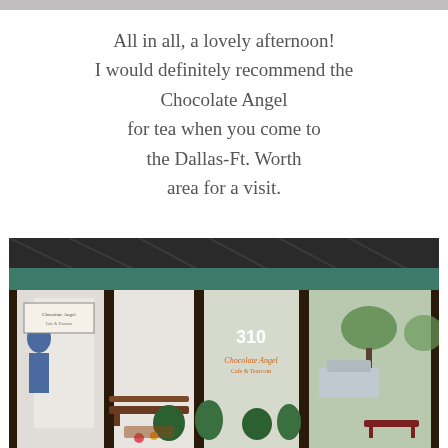[Figure (photo): Top portion of a photo, partially cropped at the top of the page — appears to be a table setting or food item at a cafe.]
All in all, a lovely afternoon!
I would definitely recommend the
Chocolate Angel
for tea when you come to
the Dallas-Ft. Worth
area for a visit.
[Figure (photo): Exterior photo of the Chocolate Angel Cafe & Tearoom located at 310, with dark awning, bench seating outside, shrubs and flowers in front, and a parking lot visible through the windows.]